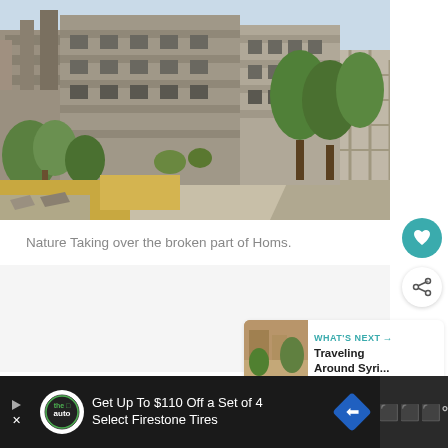[Figure (photo): War-damaged buildings in Homs, Syria. Destroyed multi-story concrete structures with exposed rebar and broken walls line a street. Green trees and shrubs grow amid the rubble. The scene is photographed in daylight.]
Nature Taking over the broken part of Homs.
WHAT'S NEXT → Traveling Around Syri...
Get Up To $110 Off a Set of 4 Select Firestone Tires